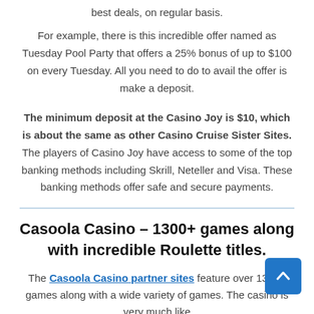best deals, on regular basis.
For example, there is this incredible offer named as Tuesday Pool Party that offers a 25% bonus of up to $100 on every Tuesday. All you need to do to avail the offer is make a deposit.
The minimum deposit at the Casino Joy is $10, which is about the same as other Casino Cruise Sister Sites. The players of Casino Joy have access to some of the top banking methods including Skrill, Neteller and Visa. These banking methods offer safe and secure payments.
Casoola Casino – 1300+ games along with incredible Roulette titles.
The Casoola Casino partner sites feature over 1300+ games along with a wide variety of games. The casino is very much like